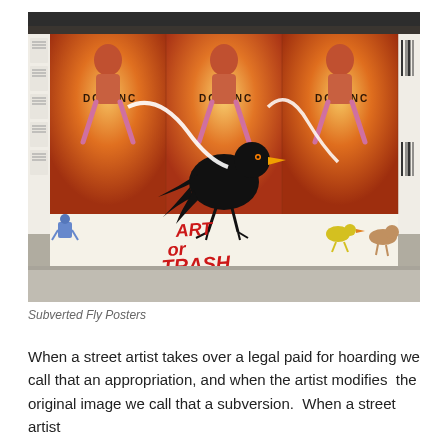[Figure (photo): Photograph of street art on a wall: three repeated orange-background poster panels showing a figure labeled 'DOLENC', with graffiti additions including a large black bird, scattered characters, animals, and 'ART or TRASH' text in red. The wall below has additional graffiti.]
Subverted Fly Posters
When a street artist takes over a legal paid for hoarding we call that an appropriation, and when the artist modifies  the original image we call that a subversion.  When a street artist